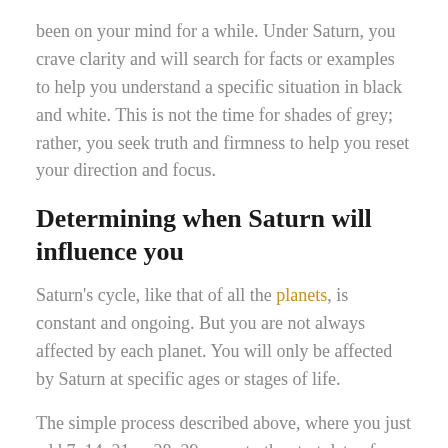been on your mind for a while. Under Saturn, you crave clarity and will search for facts or examples to help you understand a specific situation in black and white. This is not the time for shades of grey; rather, you seek truth and firmness to help you reset your direction and focus.
Determining when Saturn will influence you
Saturn's cycle, like that of all the planets, is constant and ongoing. But you are not always affected by each planet. You will only be affected by Saturn at specific ages or stages of life.
The simple process described above, where you just add 7, 14, 21 or 28–29 years to the start date of a major event, will determine when you are